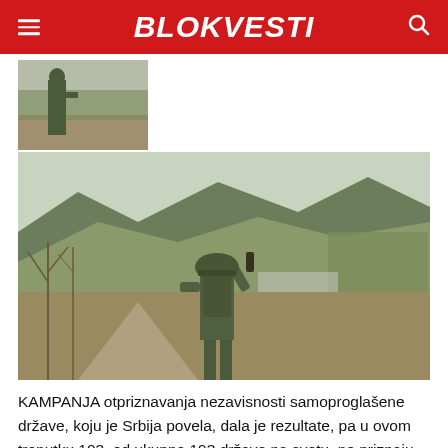BLOKVESTI
[Figure (photo): Small thumbnail of a soldier in camouflage standing in a field]
[Figure (photo): Soldier in camouflage uniform with helmet, viewed from behind, holding a weapon, standing on a dirt path with mountains and bare trees in the background]
KAMPANJA otpriznavanja nezavisnosti samoproglašene države, koju je Srbija povela, dala je rezultate, pa u ovom trenutku 103, od ukupno 193 države na svetu, ne priznaju tzv. Kosovo.